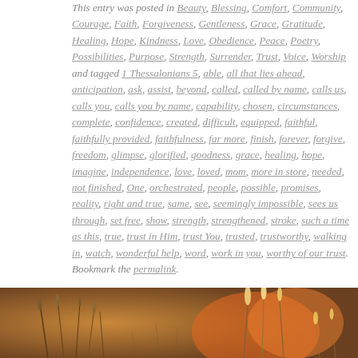This entry was posted in Beauty, Blessing, Comfort, Community, Courage, Faith, Forgiveness, Gentleness, Grace, Gratitude, Healing, Hope, Kindness, Love, Obedience, Peace, Poetry, Possibilities, Purpose, Strength, Surrender, Trust, Voice, Worship and tagged 1 Thessalonians 5, able, all that lies ahead, anticipation, ask, assist, beyond, called, called by name, calls us, calls you, calls you by name, capability, chosen, circumstances, complete, confidence, created, difficult, equipped, faithful, faithfully provided, faithfulness, far more, finish, forever, forgive, freedom, glimpse, glorified, goodness, grace, healing, hope, imagine, independence, love, loved, mom, more in store, needed, not finished, One, orchestrated, people, possible, promises, reality, right and true, same, see, seemingly impossible, sees us through, set free, show, strength, strengthened, stroke, such a time as this, true, trust in Him, trust You, trusted, trustworthy, walking in, watch, wonderful help, word, work in you, worthy of our trust. Bookmark the permalink.
[Figure (photo): Warm-toned nature photo with golden/brown hues showing dried grass or plant stems against an amber/orange bokeh background]